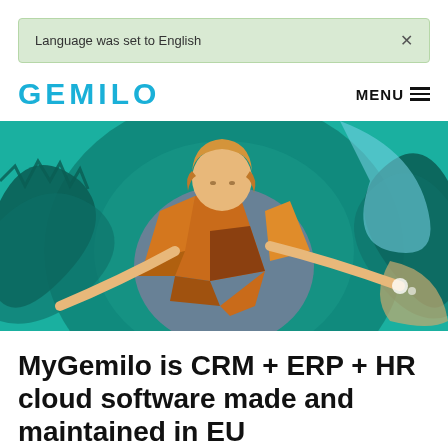Language was set to English
GEMILO
MENU
[Figure (illustration): Illustrated woman with orange geometric clothing, blonde hair, arms outstretched, surrounded by swirling teal and dark teal circular patterns with purple and light blue background elements — a digital hero banner illustration.]
MyGemilo is CRM + ERP + HR cloud software made and maintained in EU